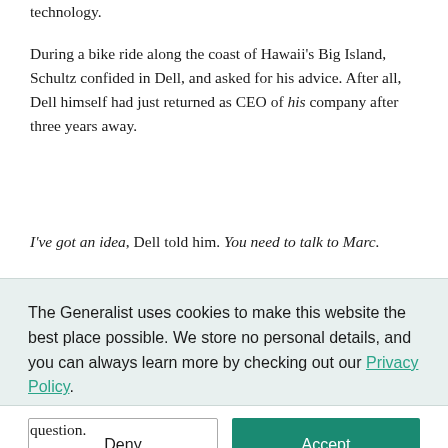technology.
During a bike ride along the coast of Hawaii's Big Island, Schultz confided in Dell, and asked for his advice. After all, Dell himself had just returned as CEO of his company after three years away.
I've got an idea, Dell told him. You need to talk to Marc.
The Generalist uses cookies to make this website the best place possible. We store no personal details, and you can always learn more by checking out our Privacy Policy.
question.